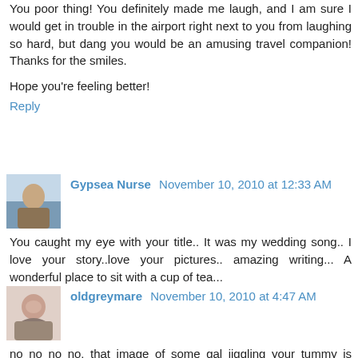You poor thing! You definitely made me laugh, and I am sure I would get in trouble in the airport right next to you from laughing so hard, but dang you would be an amusing travel companion! Thanks for the smiles.
Hope you're feeling better!
Reply
Gypsea Nurse  November 10, 2010 at 12:33 AM
You caught my eye with your title.. It was my wedding song.. I love your story..love your pictures.. amazing writing... A wonderful place to sit with a cup of tea...
Reply
oldgreymare  November 10, 2010 at 4:47 AM
no no no no, that image of some gal jiggling your tummy is hilarious! I see the oxygen bars in airports frequently but never dared to try, mostly because I didn't wanted massager jiggling the back fat! haha